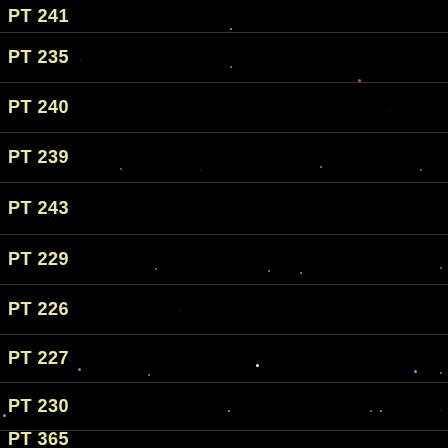PT 241
PT 235
PT 240
PT 239
PT 243
PT 229
PT 226
PT 227
PT 230
PT 365
PT 357
PT 370